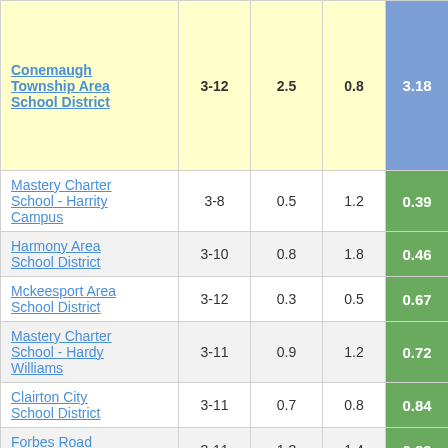| School/District | Grades | Col3 | Col4 | Score |
| --- | --- | --- | --- | --- |
| Conemaugh Township Area School District | 3-12 | 2.5 | 0.8 | 3.18 |
| Mastery Charter School - Harrity Campus | 3-8 | 0.5 | 1.2 | 0.39 |
| Harmony Area School District | 3-10 | 0.8 | 1.8 | 0.46 |
| Mckeesport Area School District | 3-12 | 0.3 | 0.5 | 0.67 |
| Mastery Charter School - Hardy Williams | 3-11 | 0.9 | 1.2 | 0.72 |
| Clairton City School District | 3-11 | 0.7 | 0.8 | 0.84 |
| Forbes Road School District | 3-11 | 1.3 | 1.4 | 0.89 |
| Chester-Upland | 3-11 | ... | ... | ... |